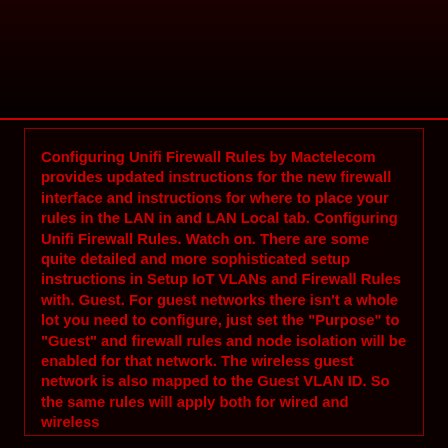Configuring Unifi Firewall Rules by Mactelecom provides updated instructions for the new firewall interface and instructions for where to place your rules in the LAN in and LAN Local tab. Configuring Unifi Firewall Rules. Watch on. There are some quite detailed and more sophisticated setup instructions in Setup IoT VLANs and Firewall Rules with. Guest. For guest networks there isn't a whole lot you need to configure, just set the "Purpose" to "Guest" and firewall rules and node isolation will be enabled for that network. The wireless guest network is also mapped to the Guest VLAN ID. So the same rules will apply both for wired and wireless